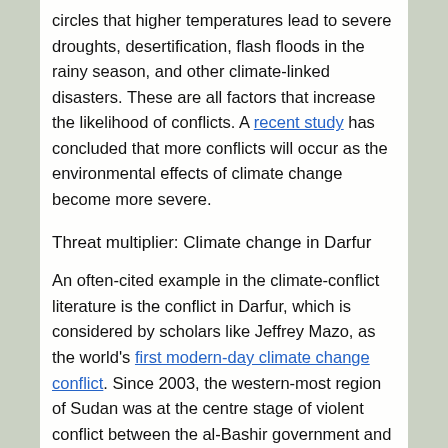circles that higher temperatures lead to severe droughts, desertification, flash floods in the rainy season, and other climate-linked disasters. These are all factors that increase the likelihood of conflicts. A recent study has concluded that more conflicts will occur as the environmental effects of climate change become more severe.
Threat multiplier: Climate change in Darfur
An often-cited example in the climate-conflict literature is the conflict in Darfur, which is considered by scholars like Jeffrey Mazo, as the world's first modern-day climate change conflict. Since 2003, the western-most region of Sudan was at the centre stage of violent conflict between the al-Bashir government and allied militias, against the Sudanese